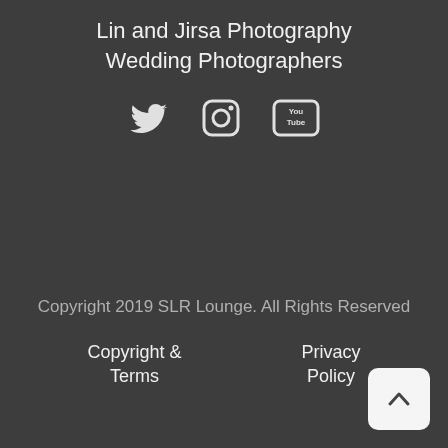Lin and Jirsa Photography
Wedding Photographers
[Figure (illustration): Social media icons: Twitter bird icon, Instagram camera icon, YouTube logo icon]
Copyright 2019 SLR Lounge. All Rights Reserved
Copyright &
Terms
Privacy
Policy
[Figure (illustration): Back to top button — white rounded square with upward caret arrow]